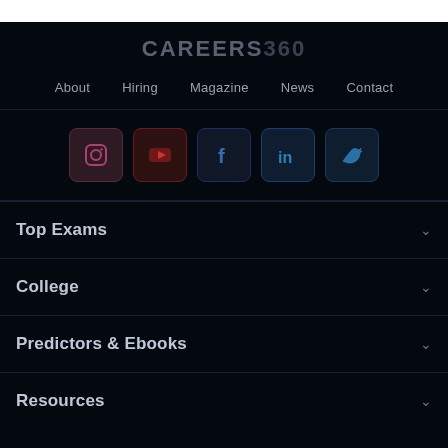[Figure (logo): Careers360 logo in dark theme]
About  Hiring  Magazine  News  Contact
[Figure (infographic): Social media icons: Instagram, YouTube, Facebook, LinkedIn, Twitter]
Top Exams
College
Predictors & Ebooks
Resources